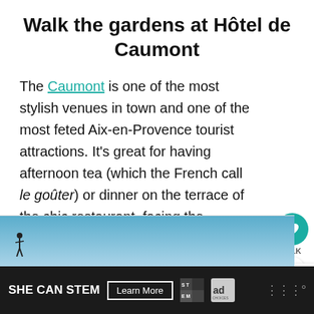Walk the gardens at Hôtel de Caumont
The Caumont is one of the most stylish venues in town and one of the most feted Aix-en-Provence tourist attractions. It's great for having afternoon tea (which the French call le goûter) or dinner on the terrace of the chic restaurant, facing the beautifully manicured lawns. Visit when they host one of their celebrated opera or jazz nights for a truly memorable experience.
[Figure (screenshot): UI overlay elements: heart/favorite button (teal circle), share count 1.1K, share button, and What's Next panel showing Aix-en-Provence link with thumbnail]
[Figure (photo): Bottom portion of a blue-sky outdoor scene, partial view]
[Figure (infographic): Advertisement bar: SHE CAN STEM with Learn More button, STEM logo, AdChoices logo, and mute button on dark background]